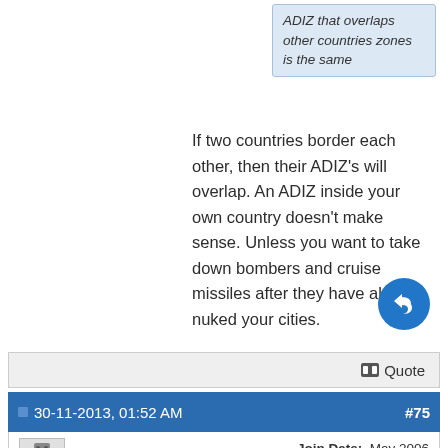ADIZ that overlaps other countries zones is the same
If two countries border each other, then their ADIZ's will overlap. An ADIZ inside your own country doesn't make sense. Unless you want to take down bombers and cruise missiles after they have already nuked your cities.
Quote
30-11-2013, 01:52 AM   #75
hullexile   Join Date: May 2006   Posts: 27,441